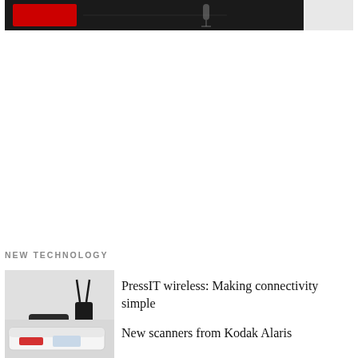[Figure (photo): Dark/black background image with red logo text and a light-colored object on the right side]
NEW TECHNOLOGY
[Figure (photo): PressIT wireless connectivity devices - black router/hub, transmitter with antenna, and small wireless adapters]
PressIT wireless: Making connectivity simple
[Figure (photo): New scanners from Kodak Alaris - white/light colored scanner device]
New scanners from Kodak Alaris